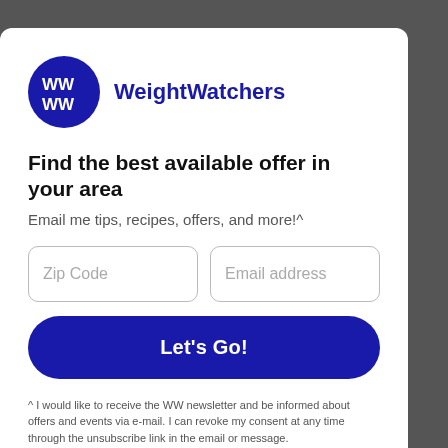[Figure (logo): WeightWatchers logo: blue circle with white WW letters, next to bold blue WeightWatchers text]
Find the best available offer in your area
Email me tips, recipes, offers, and more!^
Zip Code
Email address
Let's Go!
^ I would like to receive the WW newsletter and be informed about offers and events via e-mail. I can revoke my consent at any time through the unsubscribe link in the email or message.
No Thanks